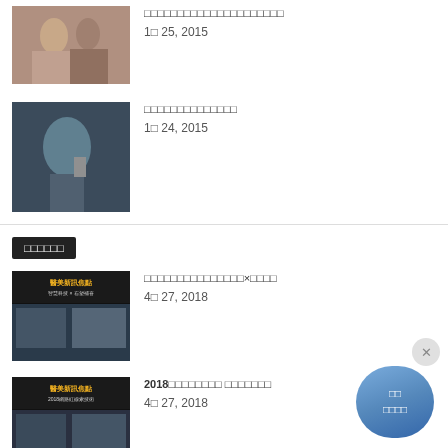[Figure (photo): Couple photo - man and woman]
□□□□□□□□□□□□□□□□□□□□□
1□ 25, 2015
[Figure (photo): Man lighting cigarette]
□□□□□□□□□□□□□□
1□ 24, 2015
□□□□□□
[Figure (photo): Medical news focus banner]
□□□□□□□□□□□□□□□×□□□□
4□ 27, 2018
[Figure (photo): Medical news focus banner 2018]
2018□□□□□□□□ □□□□□□□
4□ 27, 2018
[Figure (photo): Doctor's article thumbnail]
□□□□□□□□ □□□□□□□□